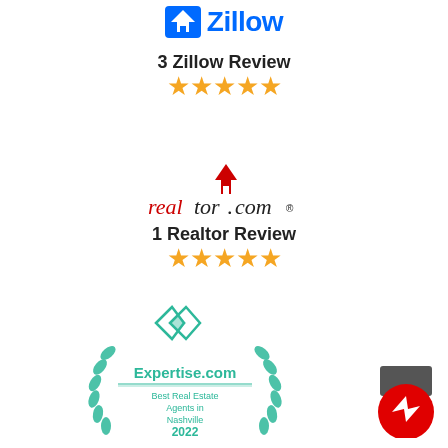[Figure (logo): Zillow logo with blue house/Z icon and blue Zillow wordmark]
3 Zillow Review
[Figure (illustration): Five gold star rating]
[Figure (logo): realtor.com logo with red house arrow icon above the wordmark]
1 Realtor Review
[Figure (illustration): Five gold star rating]
[Figure (logo): Expertise.com badge - Best Real Estate Agents in Nashville 2022, with teal diamond icon and laurel wreath]
[Figure (illustration): Facebook Messenger chat button icon]